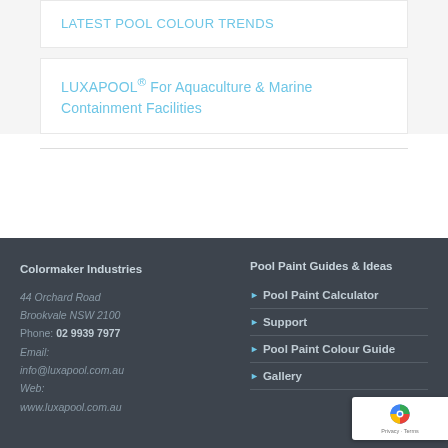LATEST POOL COLOUR TRENDS
LUXAPOOL® For Aquaculture & Marine Containment Facilities
Colormaker Industries
44 Orchard Road
Brookvale NSW 2100
Phone: 02 9939 7977
Email:
info@luxapool.com.au
Web:
www.luxapool.com.au
Pool Paint Guides & Ideas
> Pool Paint Calculator
> Support
> Pool Paint Colour Guide
> Gallery